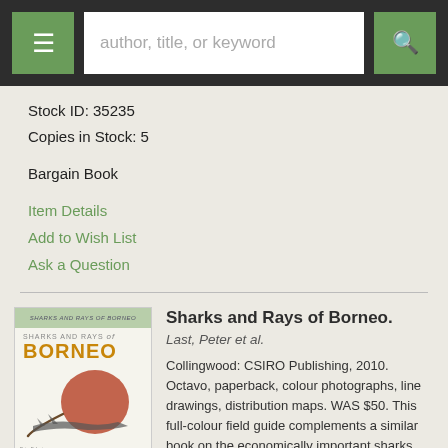Navigation bar with menu, search, and search button
Stock ID: 35235
Copies in Stock: 5
Bargain Book
Item Details
Add to Wish List
Ask a Question
[Figure (photo): Book cover of Sharks and Rays of Borneo showing title text and an illustration of a ray with brownish-red disc shape and shark silhouette]
Sharks and Rays of Borneo.
Last, Peter et al.
Collingwood: CSIRO Publishing, 2010. Octavo, paperback, colour photographs, line drawings, distribution maps. WAS $50. This full-colour field guide complements a similar book on the economically important sharks and rays of Indonesia. It is the result of a collaborative project between the governments